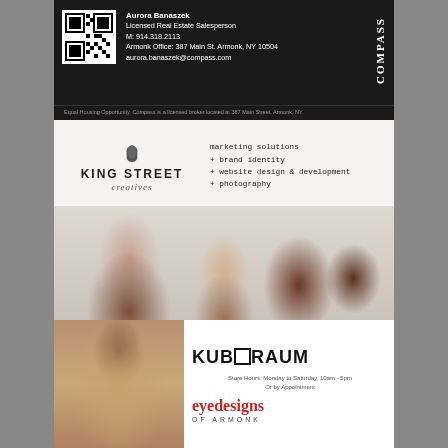[Figure (infographic): Compass real estate ad with QR code, agent info for Aurora Banaszek, Licensed Real Estate Salesperson, M: 914.318.2113, Armonk Office: 387 Main St. Armonk, NY 10504, aurora.banaszek@compass.com. Compass logo on right side vertical. Footer: Equal Housing Opportunity. Compass is a licensed broker located at 387 Main Street, Armonk, NY.]
[Figure (infographic): King Street Creatives ad. Logo with leaf icon. Services listed: marketing solutions + brand identity + website design & development + photography. Group photo of four women.]
[Figure (infographic): Eye Designs of Armonk ad featuring Kuboraum eyewear. Woman wearing large glasses. Kuboraum logo. Store Hours: Monday to Saturday, 10am - 5pm Or by Appointment. eyedesigns OF ARMONK logo in red.]